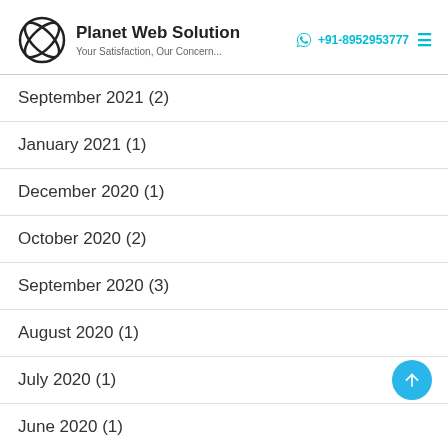Planet Web Solution — Your Satisfaction, Our Concern... | +91-8952953777
September 2021 (2)
January 2021 (1)
December 2020 (1)
October 2020 (2)
September 2020 (3)
August 2020 (1)
July 2020 (1)
June 2020 (1)
May 2020 (1)
March 2020 (2)